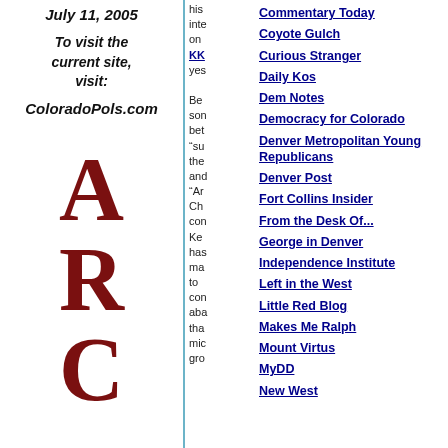July 11, 2005
To visit the current site, visit:
ColoradoPols.com
ARC
his inte on KK yes Be som bet “su the and “Ar Ch cor Ke has ma to com aba tha mic gro
Commentary Today
Coyote Gulch
Curious Stranger
Daily Kos
Dem Notes
Democracy for Colorado
Denver Metropolitan Young Republicans
Denver Post
Fort Collins Insider
From the Desk Of...
George in Denver
Independence Institute
Left in the West
Little Red Blog
Makes Me Ralph
Mount Virtus
MyDD
New West